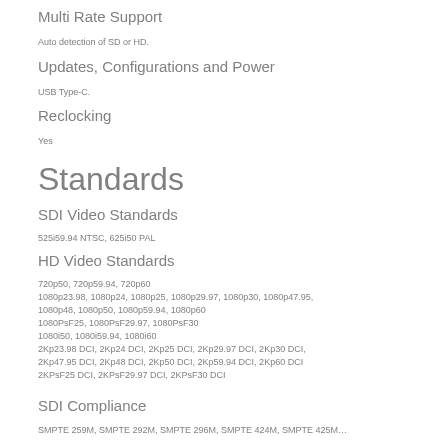Multi Rate Support
Auto detection of SD or HD.
Updates, Configurations and Power
USB Type-C.
Reclocking
Yes
Standards
SDI Video Standards
525i59.94 NTSC, 625i50 PAL
HD Video Standards
720p50, 720p59.94, 720p60
1080p23.98, 1080p24, 1080p25, 1080p29.97, 1080p30, 1080p47.95,
1080p48, 1080p50, 1080p59.94, 1080p60
1080PsF25, 1080PsF29.97, 1080PsF30
1080i50, 1080i59.94, 1080i60
2Kp23.98 DCI, 2Kp24 DCI, 2Kp25 DCI, 2Kp29.97 DCI, 2Kp30 DCI,
2Kp47.95 DCI, 2Kp48 DCI, 2Kp50 DCI, 2Kp59.94 DCI, 2Kp60 DCI
2KPsF25 DCI, 2KPsF29.97 DCI, 2KPsF30 DCI
SDI Compliance
SMPTE 259M, SMPTE 292M, SMPTE 296M, SMPTE 424M, SMPTE 425M…